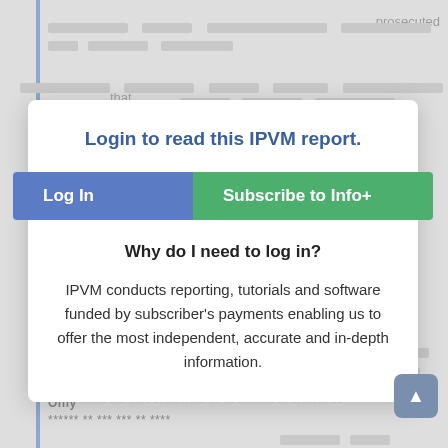prosecuted
that
They
they
Only ***** *** **** ********** ** ** ******* ** ******* ** ****** ** *** *** ** ****
[Figure (screenshot): Login modal overlay on IPVM report page with 'Login to read this IPVM report.' heading, 'Log In' blue button and 'Subscribe to Info+' green button, 'Why do I need to log in?' section with explanation text about IPVM funding model.]
Login to read this IPVM report.
Log In
Subscribe to Info+
Why do I need to log in?
IPVM conducts reporting, tutorials and software funded by subscriber's payments enabling us to offer the most independent, accurate and in-depth information.